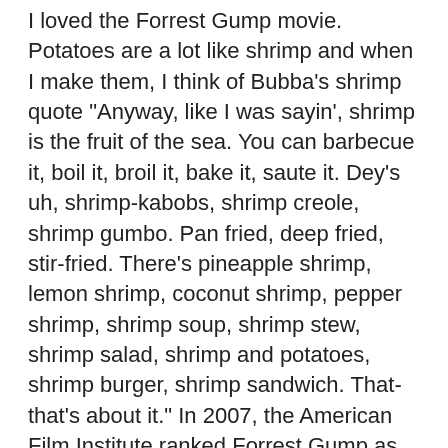I loved the Forrest Gump movie. Potatoes are a lot like shrimp and when I make them, I think of Bubba's shrimp quote "Anyway, like I was sayin', shrimp is the fruit of the sea. You can barbecue it, boil it, broil it, bake it, saute it. Dey's uh, shrimp-kabobs, shrimp creole, shrimp gumbo. Pan fried, deep fried, stir-fried. There's pineapple shrimp, lemon shrimp, coconut shrimp, pepper shrimp, shrimp soup, shrimp stew, shrimp salad, shrimp and potatoes, shrimp burger, shrimp sandwich. That- that's about it." In 2007, the American Film Institute ranked Forrest Gump as #76 Greatest Movie of All Time.
This potato recipe will wow just about any of your dinner guest. It is simple to make in many different ways, depending on what entree will be served and what you have in the kitchen! It is a well balanced meal by itself and can be prepped for baking in 5-10